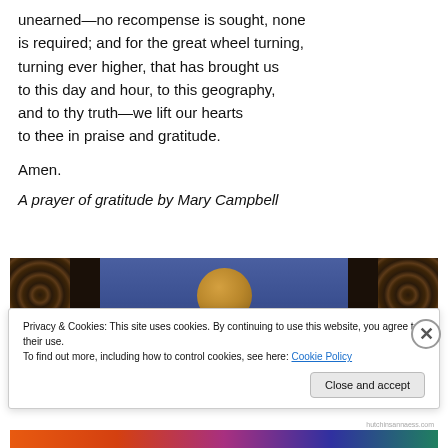unearned—no recompense is sought, none is required; and for the great wheel turning, turning ever higher, that has brought us to this day and hour, to this geography, and to thy truth—we lift our hearts to thee in praise and gratitude.
Amen.
A prayer of gratitude by Mary Campbell
[Figure (photo): Decorative artistic image showing ornate dark patterned panels flanking a blue background with a golden circular medallion in the center.]
Privacy & Cookies: This site uses cookies. By continuing to use this website, you agree to their use.
To find out more, including how to control cookies, see here: Cookie Policy